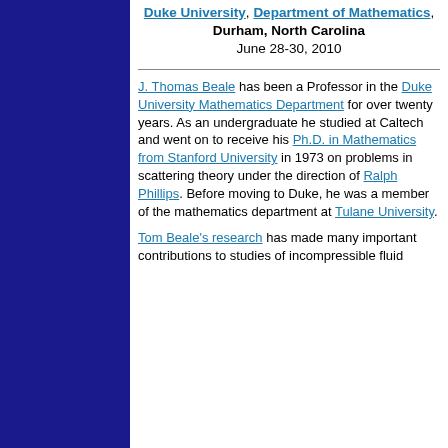Duke University, Department of Mathematics, Durham, North Carolina
June 28-30, 2010
J. Thomas Beale has been a Professor in the Duke University Mathematics Department for over twenty years. As an undergraduate he studied at Caltech and went on to receive his Ph.D. in Mathematics from Stanford University in 1973 on problems in scattering theory under the direction of Ralph Phillips. Before moving to Duke, he was a member of the mathematics department at Tulane University.
Tom Beale's research has made many important contributions to studies of incompressible fluid